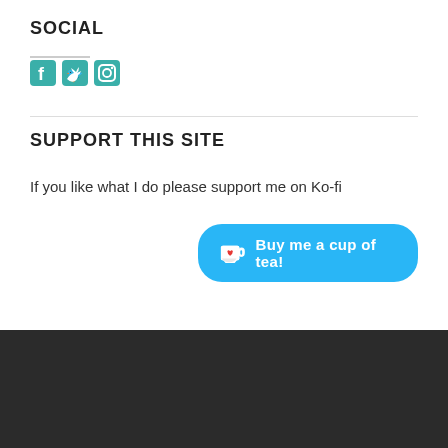SOCIAL
[Figure (illustration): Three social media icons: Facebook, Twitter, and Instagram, rendered in teal/green color]
SUPPORT THIS SITE
If you like what I do please support me on Ko-fi
[Figure (illustration): Ko-fi button with cup icon and text 'Buy me a cup of tea!' on a cyan/light-blue rounded rectangle background]
POWERED BY WORDPRESS.COM.